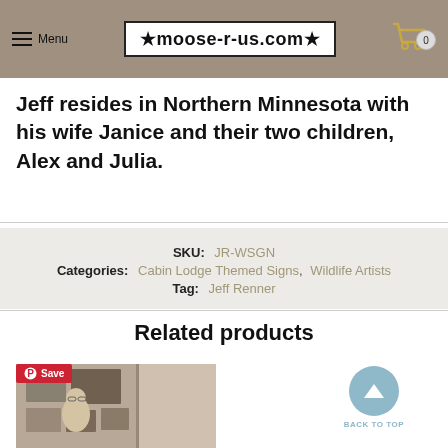Menu | moose-r-us.com | Cart 0
Jeff resides in Northern Minnesota with his wife Janice and their two children, Alex and Julia.
SKU: JR-WSGN
Categories: Cabin Lodge Themed Signs, Wildlife Artists
Tag: Jeff Renner
Related products
[Figure (photo): Photo of a man (Jeff Renner) standing in front of artwork/paintings on a wall]
Save
BACK TO TOP